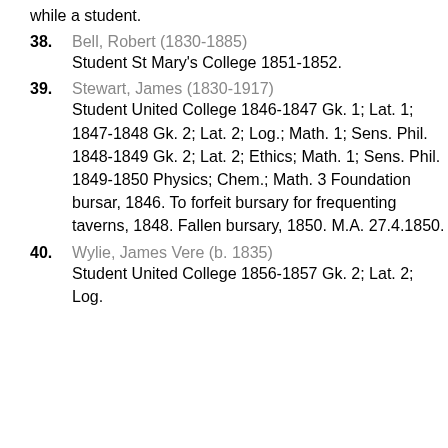while a student.
38. Bell, Robert (1830-1885) Student St Mary's College 1851-1852.
39. Stewart, James (1830-1917) Student United College 1846-1847 Gk. 1; Lat. 1; 1847-1848 Gk. 2; Lat. 2; Log.; Math. 1; Sens. Phil. 1848-1849 Gk. 2; Lat. 2; Ethics; Math. 1; Sens. Phil. 1849-1850 Physics; Chem.; Math. 3 Foundation bursar, 1846. To forfeit bursary for frequenting taverns, 1848. Fallen bursary, 1850. M.A. 27.4.1850.
40. Wylie, James Vere (b. 1835) Student United College 1856-1857 Gk. 2; Lat. 2; Log.